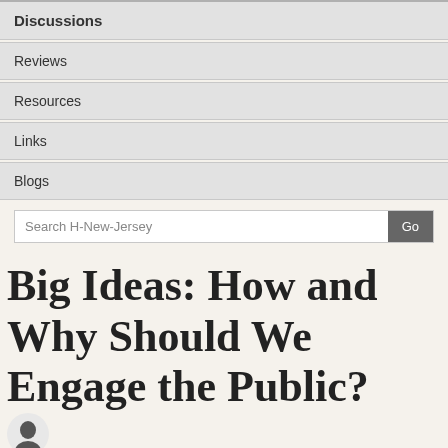Discussions
Reviews
Resources
Links
Blogs
Search H-New-Jersey
Big Ideas: How and Why Should We Engage the Public?